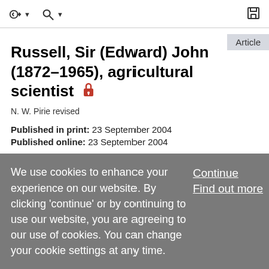Toolbar with navigation and save icons
Russell, Sir (Edward) John (1872–1965), agricultural scientist
N. W. Pirie revised
Published in print: 23 September 2004
Published online: 23 September 2004
Russell, Sir (Edward) John (1872–1965), agricultural scientist, was born on 31 October 1872 in Frampton-on-Severn, the oldest of the nine children of Edward Thomas
We use cookies to enhance your experience on our website. By clicking 'continue' or by continuing to use our website, you are agreeing to our use of cookies. You can change your cookie settings at any time.